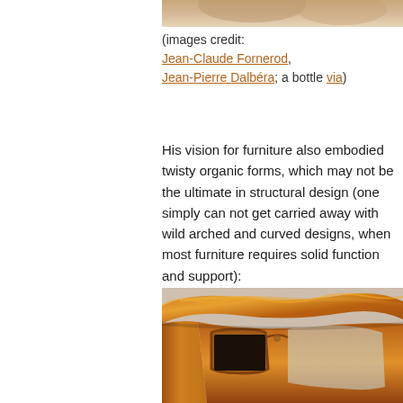[Figure (photo): Partial view of a photo at the top of the page, cropped]
(images credit:
Jean-Claude Fornerod,
Jean-Pierre Dalbéra; a bottle via)
His vision for furniture also embodied twisty organic forms, which may not be the ultimate in structural design (one simply can not get carried away with wild arched and curved designs, when most furniture requires solid function and support):
[Figure (photo): Close-up photo of an Art Nouveau wooden furniture piece with curved, organic forms in warm amber/orange tones]